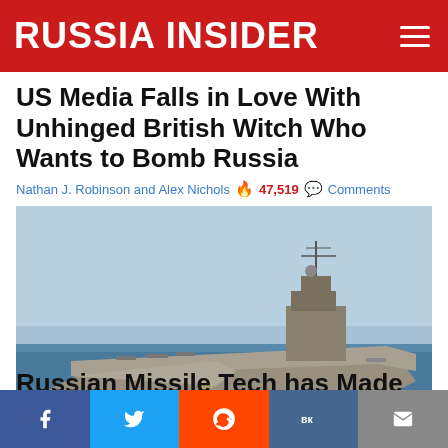RUSSIA INSIDER
US Media Falls in Love With Unhinged British Witch Who Wants to Bomb Russia
Nathan J. Robinson and Alex Nichols 🔥 47,519 💬 Comments
[Figure (photo): Aircraft carrier at sea, viewed from front-left quarter, grey hull with superstructure visible, blue sky and ocean]
Russian Missile Tech has Made America's Trillion Dollar Navy Obsolete